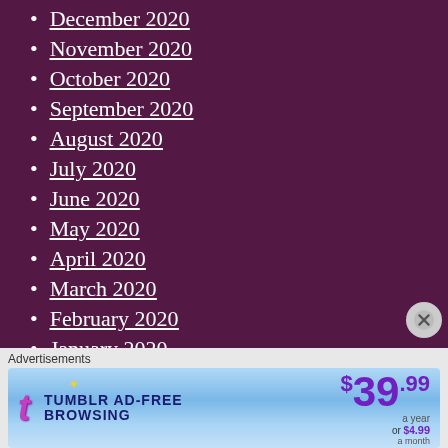December 2020
November 2020
October 2020
September 2020
August 2020
July 2020
June 2020
May 2020
April 2020
March 2020
February 2020
January 2020
December 2019
November 2019
Advertisements
[Figure (other): Tumblr Ad-Free Browsing advertisement banner: $39.99 a year or $4.99 a month]